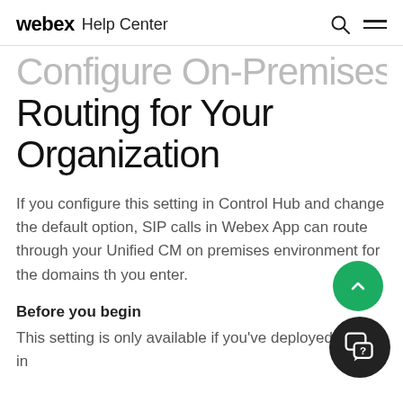webex Help Center
Configure On-Premises Routing for Your Organization
If you configure this setting in Control Hub and change the default option, SIP calls in Webex App can route through your Unified CM on premises environment for the domains that you enter.
Before you begin
This setting is only available if you've deployed Calling in